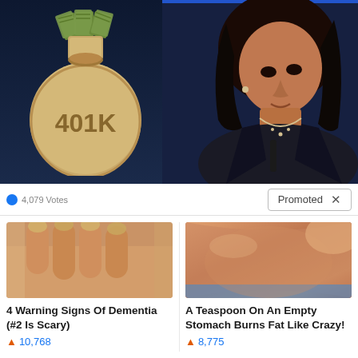[Figure (photo): Composite image: left side shows an illustration of a 401K money bag filled with dollar bills on a dark background; right side shows a photo of a woman (Kamala Harris) at a podium against a dark blue background]
4,079 Votes
Promoted X
[Figure (photo): Close-up photo of fingers with yellowing/discolored nails]
4 Warning Signs Of Dementia (#2 Is Scary)
🔥 10,768
[Figure (photo): Close-up photo of a person's midsection/stomach area]
A Teaspoon On An Empty Stomach Burns Fat Like Crazy!
🔥 8,775